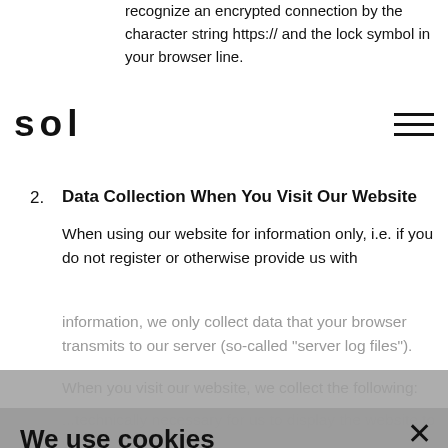recognize an encrypted connection by the character string https:// and the lock symbol in your browser line.
SOL [logo] [hamburger menu]
2. Data Collection When You Visit Our Website
When using our website for information only, i.e. if you do not register or otherwise provide us with information, we only collect data that your browser transmits to our server (so-called "server log files"). When you visit our website, we collect the following: ...technically necessary for us to display the website to you.
We use cookies
We want to optimise our website, continuously improve its performance and be able to provide you with content tailored to your interests. For this purpose, we analyse - with your consent - the use of our website by means of tracking tools and cookies. Further information on the use of cookies and analysis tools as well as the option to object can be found in our data protection